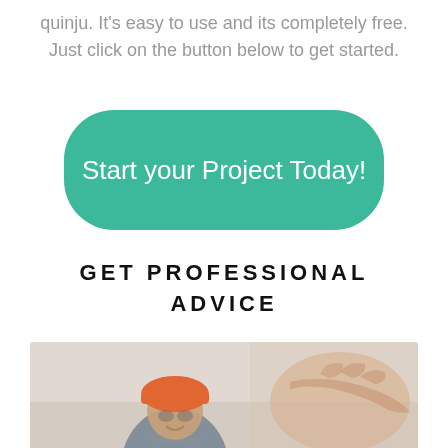quinju. It's easy to use and its completely free. Just click on the button below to get started.
[Figure (other): Large teal/green rounded button with text 'Start your Project Today!']
GET PROFESSIONAL ADVICE
[Figure (photo): Photo of a smiling construction worker wearing an orange hard hat, with another person's hand visible in the foreground, blurred background.]